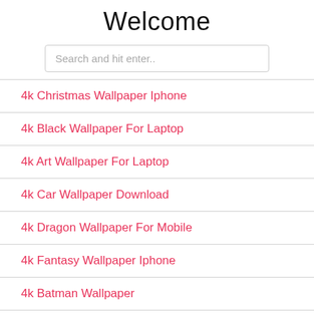Welcome
Search and hit enter..
4k Christmas Wallpaper Iphone
4k Black Wallpaper For Laptop
4k Art Wallpaper For Laptop
4k Car Wallpaper Download
4k Dragon Wallpaper For Mobile
4k Fantasy Wallpaper Iphone
4k Batman Wallpaper
4k Futuristic Wallpaper
4k Colorful Wallpaper For Pc
4k Anime Wallpaper Phone